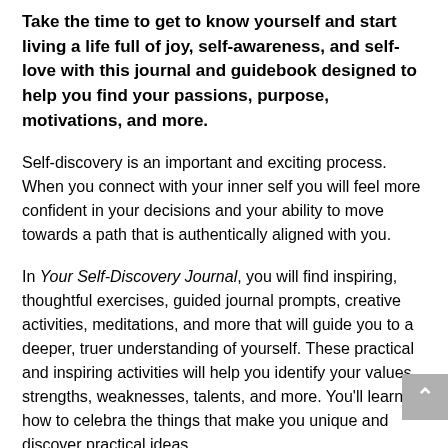Take the time to get to know yourself and start living a life full of joy, self-awareness, and self-love with this journal and guidebook designed to help you find your passions, purpose, motivations, and more.
Self-discovery is an important and exciting process. When you connect with your inner self you will feel more confident in your decisions and your ability to move towards a path that is authentically aligned with you.
In Your Self-Discovery Journal, you will find inspiring, thoughtful exercises, guided journal prompts, creative activities, meditations, and more that will guide you to a deeper, truer understanding of yourself. These practical and inspiring activities will help you identify your values, strengths, weaknesses, talents, and more. You'll learn how to celebra the things that make you unique and discover practical ideas for staying motivated for self-discovery...